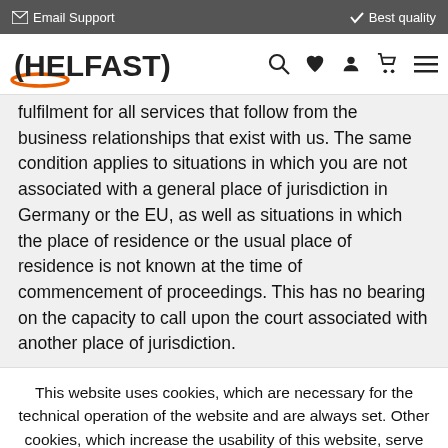✉ Email Support   ✓ Best quality
[Figure (logo): Helfast logo with orange arc and navigation icons (search, heart, user, cart, menu)]
fulfilment for all services that follow from the business relationships that exist with us. The same condition applies to situations in which you are not associated with a general place of jurisdiction in Germany or the EU, as well as situations in which the place of residence or the usual place of residence is not known at the time of commencement of proceedings. This has no bearing on the capacity to call upon the court associated with another place of jurisdiction.
This website uses cookies, which are necessary for the technical operation of the website and are always set. Other cookies, which increase the usability of this website, serve for direct advertising or simplify interaction with other websites and social networks, will only be used with your consent.
Decline | Configure